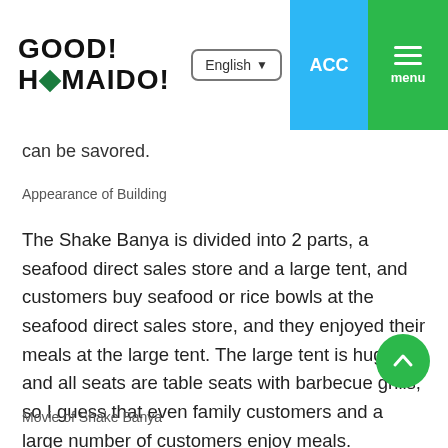GOOD! HOMAIDO! | English | ACC | menu
can be savored.
Appearance of Building
The Shake Banya is divided into 2 parts, a seafood direct sales store and a large tent, and customers buy seafood or rice bowls at the seafood direct sales store, and they enjoyed their meals at the large tent. The large tent is huge, and all seats are table seats with barbecue grills, so I guess that even family customers and a large number of customers enjoy meals.
Movie of Shake Banya